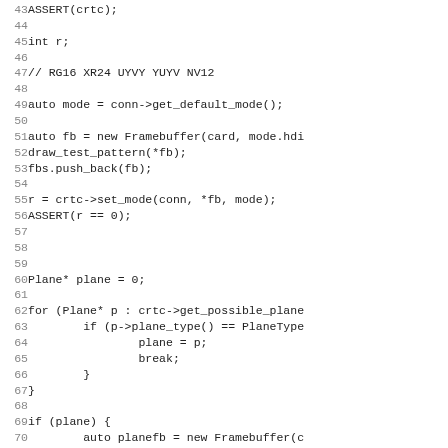Code listing lines 43-74: C++ source code showing CRTC/framebuffer/plane setup with ASSERT, Framebuffer construction, set_mode, and plane iteration logic.